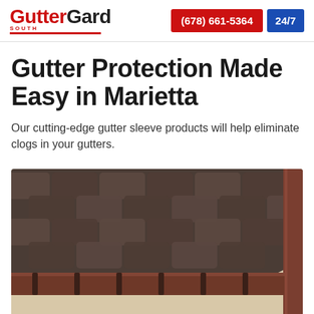GutterGard South — (678) 661-5364 — 24/7
Gutter Protection Made Easy in Marietta
Our cutting-edge gutter sleeve products will help eliminate clogs in your gutters.
[Figure (photo): Close-up photo of a rooftop corner showing dark brown/charcoal hexagonal asphalt shingles and a dark brown aluminum rain gutter system with brackets.]
Free Quote